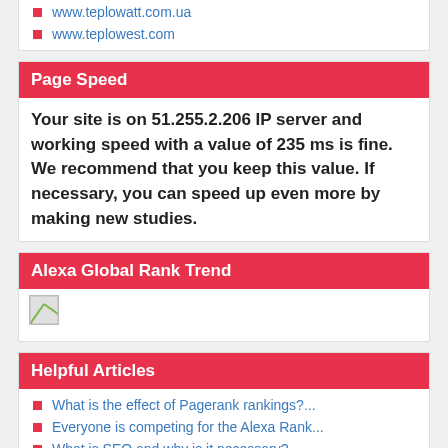www.teplowatt.com.ua
www.teplowest.com
Page Speed
Your site is on 51.255.2.206 IP server and working speed with a value of 235 ms is fine. We recommend that you keep this value. If necessary, you can speed up even more by making new studies.
Alexa Global Rank Trend
[Figure (other): Broken image placeholder for Alexa Global Rank Trend chart]
Helpful Articles
What is the effect of Pagerank rankings?...
Everyone is competing for the Alexa Rank...
What is SEO and why is it necessary?...
Well-formed web site, why is it importan...